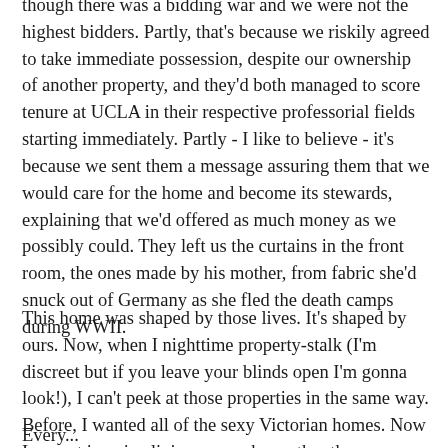though there was a bidding war and we were not the highest bidders. Partly, that's because we riskily agreed to take immediate possession, despite our ownership of another property, and they'd both managed to score tenure at UCLA in their respective professorial fields starting immediately. Partly - I like to believe - it's because we sent them a message assuring them that we would care for the home and become its stewards, explaining that we'd offered as much money as we possibly could. They left us the curtains in the front room, the ones made by his mother, from fabric she'd snuck out of Germany as she fled the death camps during WWII.
This home was shaped by those lives. It's shaped by ours. Now, when I nighttime property-stalk (I'm discreet but if you leave your blinds open I'm gonna look!), I can't peek at those properties in the same way. Before, I wanted all of the sexy Victorian homes. Now I cannot imagine living somewhere other than my home because I have no investment elsewhere. I'm not in those floors and walls and windows. I wasn't the source of their vision.
Every...